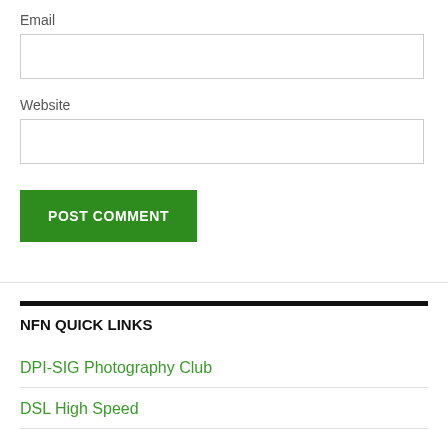Email
Website
POST COMMENT
NFN QUICK LINKS
DPI-SIG Photography Club
DSL High Speed